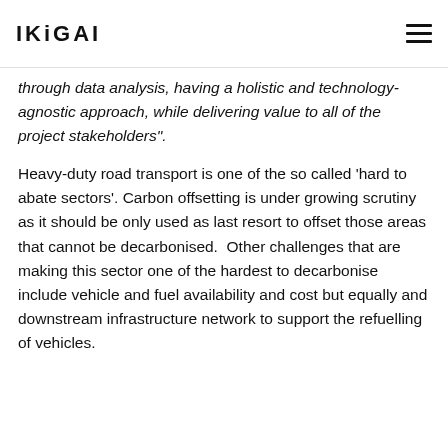IKIGAI
through data analysis, having a holistic and technology-agnostic approach, while delivering value to all of the project stakeholders".
Heavy-duty road transport is one of the so called ‘hard to abate sectors’. Carbon offsetting is under growing scrutiny as it should be only used as last resort to offset those areas that cannot be decarbonised. Other challenges that are making this sector one of the hardest to decarbonise include vehicle and fuel availability and cost but equally and downstream infrastructure network to support the refuelling of vehicles.